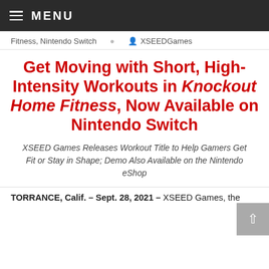MENU
Fitness, Nintendo Switch   XSEEDGames
Get Moving with Short, High-Intensity Workouts in Knockout Home Fitness, Now Available on Nintendo Switch
XSEED Games Releases Workout Title to Help Gamers Get Fit or Stay in Shape; Demo Also Available on the Nintendo eShop
TORRANCE, Calif. – Sept. 28, 2021 – XSEED Games, the